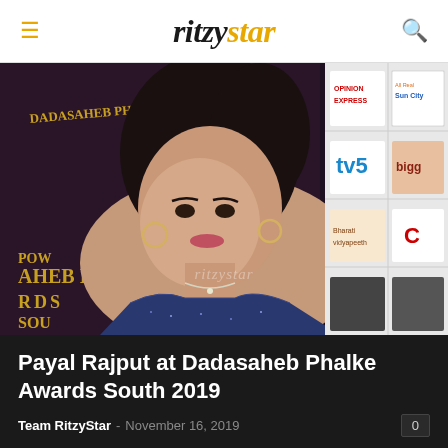ritzystar
[Figure (photo): Payal Rajput posing at Dadasaheb Phalke Awards South 2019 red carpet event, wearing a navy blue strapless sequined gown, with sponsor banners visible in background including Dadasaheb Phalke International, Opinion Express, TV5, and other logos. Watermark reads 'ritzystar'.]
Payal Rajput at Dadasaheb Phalke Awards South 2019
Team RitzyStar - November 16, 2019